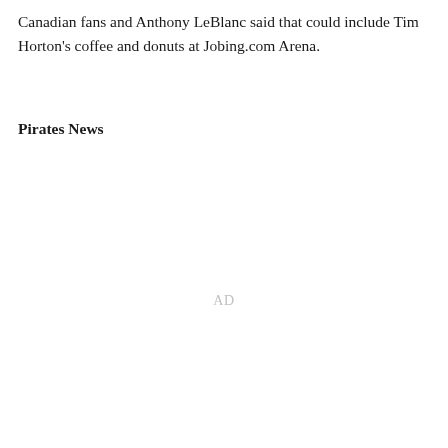Canadian fans and Anthony LeBlanc said that could include Tim Horton's coffee and donuts at Jobing.com Arena.
Pirates News
AD